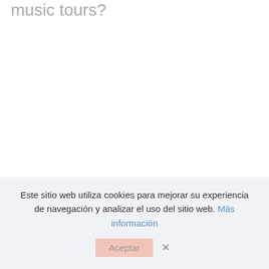music tours?
Este sitio web utiliza cookies para mejorar su experiencia de navegación y analizar el uso del sitio web. Más información
Aceptar  X